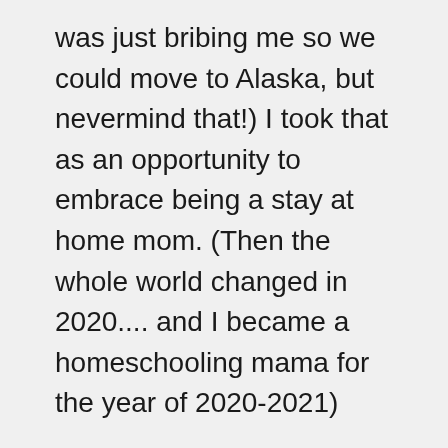was just bribing me so we could move to Alaska, but nevermind that!) I took that as an opportunity to embrace being a stay at home mom. (Then the whole world changed in 2020.... and I became a homeschooling mama for the year of 2020-2021)
Now life is like this. I am getting my Alaska Nursing License because I want to. Not because I have to. I help other nurses who are moms find their passions, and earn money from home so they can too, stay home with their babies. I now work for myself, on my own terms, and will use my Alaska Nursing License to help others with my own business. I hope to help twenty five